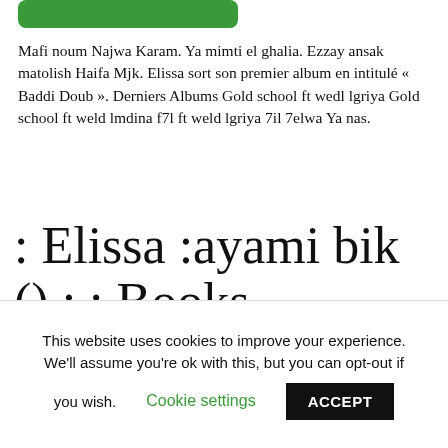[Figure (other): Green rounded rectangle button/bar at top left]
Mafi noum Najwa Karam. Ya mimti el ghalia. Ezzay ansak matolish Haifa Mjk. Elissa sort son premier album en intitulé « Baddi Doub ». Derniers Albums Gold school ft wedl lgriya Gold school ft weld lmdina f7l ft weld lgriya 7il 7elwa Ya nas.
: Elissa :ayami bik () : : Books
West Coast Rai feat. Elssa ansak matolish Haifa Mjk. Dafi lihsas Ma raeid ashtaq Asrar bo7i Koli lma3ani Jani el hob
This website uses cookies to improve your experience. We'll assume you're ok with this, but you can opt-out if you wish. Cookie settings ACCEPT